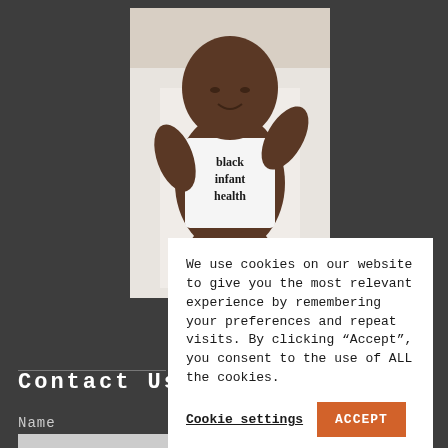[Figure (photo): A smiling Black newborn baby lying on white bedding, wearing a white onesie that reads 'black infant health']
We use cookies on our website to give you the most relevant experience by remembering your preferences and repeat visits. By clicking “Accept”, you consent to the use of ALL the cookies.
Cookie settings
ACCEPT
Contact Us
Name